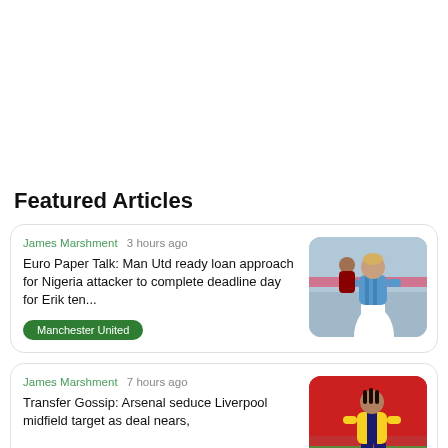Featured Articles
James Marshment  3 hours ago

Euro Paper Talk: Man Utd ready loan approach for Nigeria attacker to complete deadline day for Erik ten...

Manchester United
[Figure (photo): Football player in light blue and white Napoli kit running on pitch]
James Marshment  7 hours ago

Transfer Gossip: Arsenal seduce Liverpool midfield target as deal nears,
[Figure (photo): Football player in yellow and blue Boca Juniors kit, red crowd background]